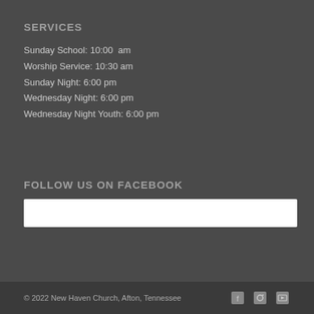SERVICES
Sunday School: 10:00  am
Worship Service: 10:30 am
Sunday Night: 6:00 pm
Wednesday Night: 6:00 pm
Wednesday Night Youth: 6:00 pm
FOLLOW US ON FACEBOOK
[Figure (other): White rectangular Facebook embed/widget box]
© 2022 New Haven Church, Afton, Tennessee